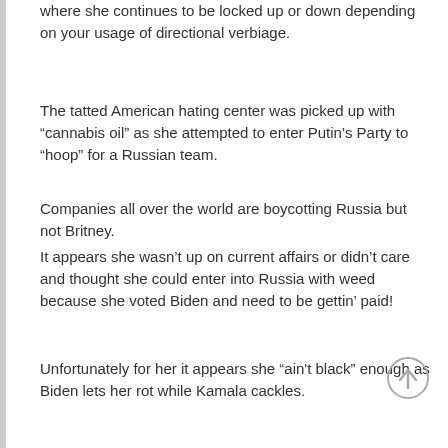where she continues to be locked up or down depending on your usage of directional verbiage.
The tatted American hating center was picked up with “cannabis oil” as she attempted to enter Putin’s Party to “hoop” for a Russian team.
Companies all over the world are boycotting Russia but not Britney.
It appears she wasn’t up on current affairs or didn’t care and thought she could enter into Russia with weed because she voted Biden and need to be gettin’ paid!
Unfortunately for her it appears she “ain't black” enough as Biden lets her rot while Kamala cackles.
I wonder if she’s sitting in her cell realizing that she wouldn’t be there if Trump was in office.
How can you say that Jason?
A very similar situation happened in China with another Black, Jives Chatter